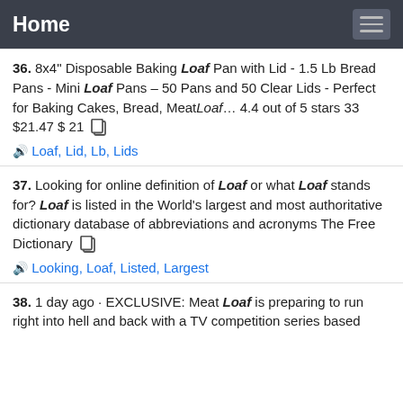Home
36. 8x4" Disposable Baking Loaf Pan with Lid - 1.5 Lb Bread Pans - Mini Loaf Pans – 50 Pans and 50 Clear Lids - Perfect for Baking Cakes, Bread, MeatLoaf… 4.4 out of 5 stars 33 $21.47 $ 21
Loaf, Lid, Lb, Lids
37. Looking for online definition of Loaf or what Loaf stands for? Loaf is listed in the World's largest and most authoritative dictionary database of abbreviations and acronyms The Free Dictionary
Looking, Loaf, Listed, Largest
38. 1 day ago · EXCLUSIVE: Meat Loaf is preparing to run right into hell and back with a TV competition series based